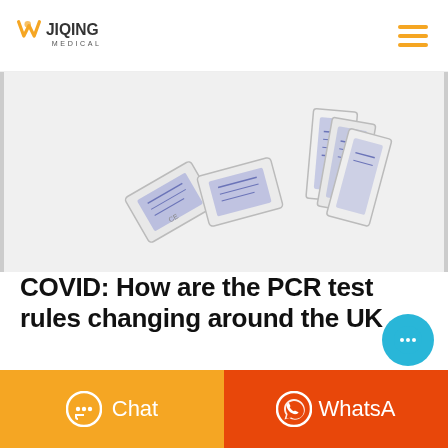JIQING MEDICAL
[Figure (photo): COVID lateral flow test swab packets arranged on white background]
COVID: How are the PCR test rules changing around the UK ...
Jan 05, 2022·The government is changing the rules on PCR testing for people who test positive on a lateral flow test in England, Scotland and Wales